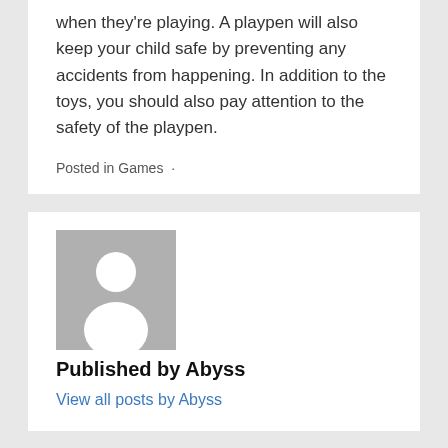when they're playing. A playpen will also keep your child safe by preventing any accidents from happening. In addition to the toys, you should also pay attention to the safety of the playpen.
Posted in Games ·
[Figure (illustration): Generic user avatar placeholder: grey square with white silhouette of a person (head circle and shoulders)]
Published by Abyss
View all posts by Abyss
PREV